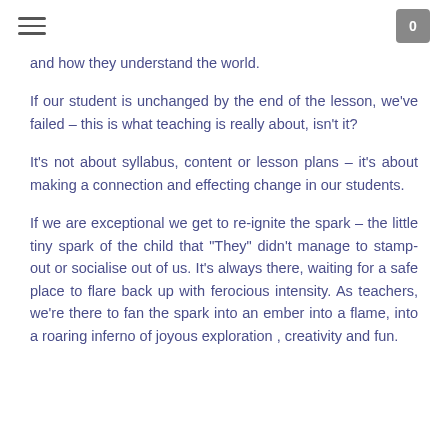≡  0
and how they understand the world.
If our student is unchanged by the end of the lesson, we've failed – this is what teaching is really about, isn't it?
It's not about syllabus, content or lesson plans – it's about making a connection and effecting change in our students.
If we are exceptional we get to re-ignite the spark – the little tiny spark of the child that "They" didn't manage to stamp-out or socialise out of us. It's always there, waiting for a safe place to flare back up with ferocious intensity. As teachers, we're there to fan the spark into an ember into a flame, into a roaring inferno of joyous exploration , creativity and fun.